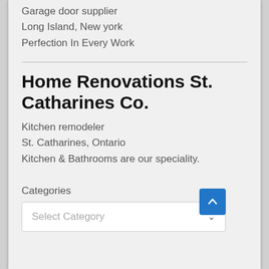Garage door supplier
Long Island, New york
Perfection In Every Work
Home Renovations St. Catharines Co.
Kitchen remodeler
St. Catharines, Ontario
Kitchen & Bathrooms are our speciality.
Categories
Select Category